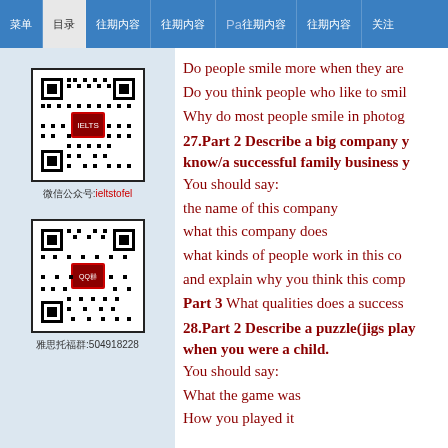菜单 目录 往期内容 往期内容 Pa往期内容 往期内容 关注
Do people smile more when they are
Do you think people who like to smil
Why do most people smile in photog
27.Part 2 Describe a big company y know/a successful family business y
You should say:
the name of this company
what this company does
what kinds of people work in this co
and explain why you think this comp
Part 3 What qualities does a success
28.Part 2 Describe a puzzle(jigs play when you were a child.
You should say:
What the game was
How you played it
[Figure (other): QR code with label: 微信公众号:ieltstofel]
[Figure (other): QR code with label: 雅思托福群:504918228]